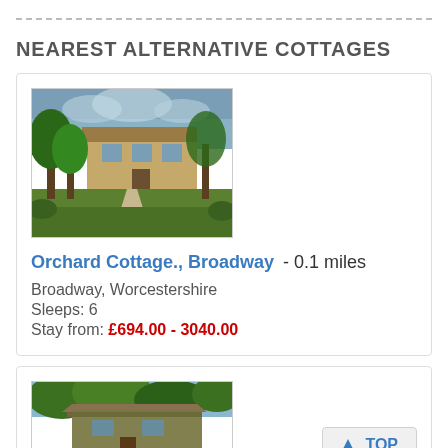NEAREST ALTERNATIVE COTTAGES
[Figure (photo): Exterior photo of Orchard Cottage, a stone building with garden and trees]
Orchard Cottage., Broadway - 0.1 miles
Broadway, Worcestershire
Sleeps: 6
Stay from: £694.00 - 3040.00
[Figure (photo): Exterior photo of a second cottage with ivy-covered stone walls]